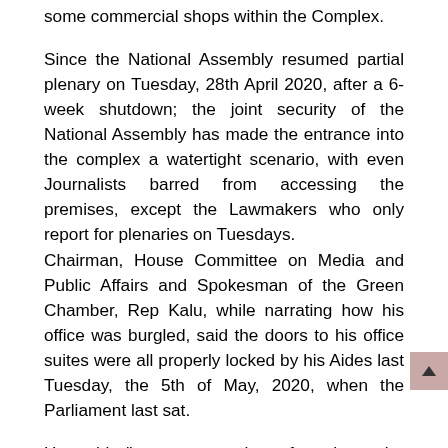some commercial shops within the Complex.
Since the National Assembly resumed partial plenary on Tuesday, 28th April 2020, after a 6-week shutdown; the joint security of the National Assembly has made the entrance into the complex a watertight scenario, with even Journalists barred from accessing the premises, except the Lawmakers who only report for plenaries on Tuesdays.
Chairman, House Committee on Media and Public Affairs and Spokesman of the Green Chamber, Rep Kalu, while narrating how his office was burgled, said the doors to his office suites were all properly locked by his Aides last Tuesday, the 5th of May, 2020, when the Parliament last sat.
He said, "upon resumption of work at the above-mentioned office on the morning of Tuesday, 12th May 2020, my aide observed that electrical power in the entire suite had been turned off.